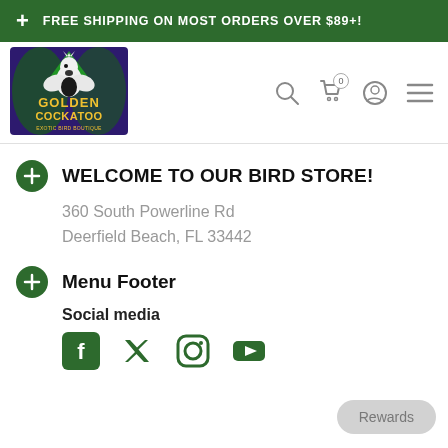+ FREE SHIPPING ON MOST ORDERS OVER $89+!
[Figure (logo): Golden Cockatoo Exotic Bird Boutique logo with cockatoo bird illustration]
WELCOME TO OUR BIRD STORE!
360 South Powerline Rd
Deerfield Beach, FL 33442
Menu Footer
Social media
[Figure (illustration): Social media icons: Facebook, Twitter, Instagram, YouTube]